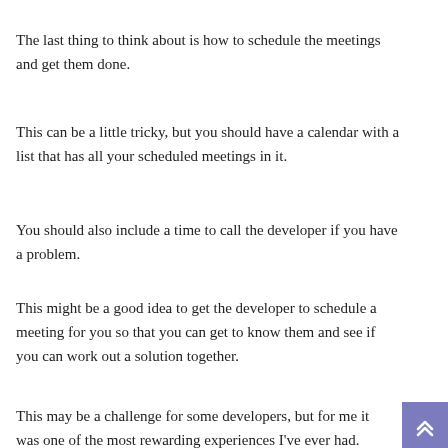The last thing to think about is how to schedule the meetings and get them done.
This can be a little tricky, but you should have a calendar with a list that has all your scheduled meetings in it.
You should also include a time to call the developer if you have a problem.
This might be a good idea to get the developer to schedule a meeting for you so that you can get to know them and see if you can work out a solution together.
This may be a challenge for some developers, but for me it was one of the most rewarding experiences I've ever had.